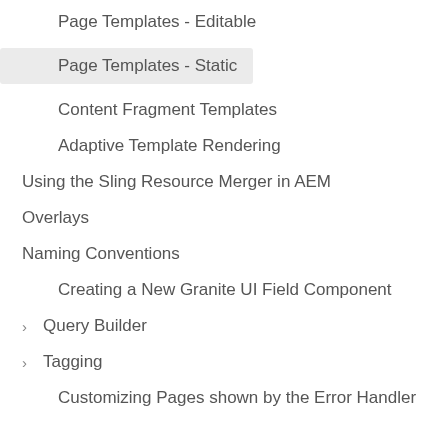Page Templates - Editable
Page Templates - Static
Content Fragment Templates
Adaptive Template Rendering
Using the Sling Resource Merger in AEM
Overlays
Naming Conventions
Creating a New Granite UI Field Component
› Query Builder
› Tagging
Customizing Pages shown by the Error Handler